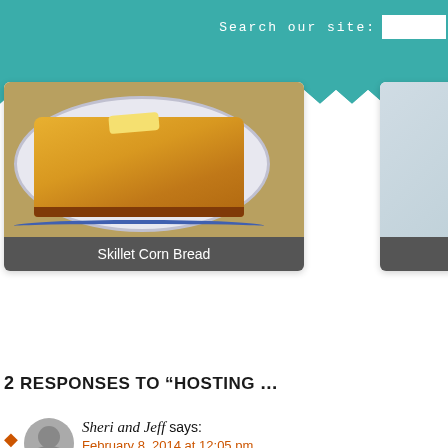Search our site:
[Figure (photo): Food photo card showing Skillet Corn Bread with caption bar]
[Figure (photo): Partially visible food card with caption 'Fun hol...']
2 RESPONSES TO "HOSTING ..."
Sheri and Jeff says:
February 8, 2014 at 12:05 pm
We love you and skiing...and t were over the moon for the chi forever since any of us had ind
Reply
Bartender says:
February 9, 2014 at 12:1